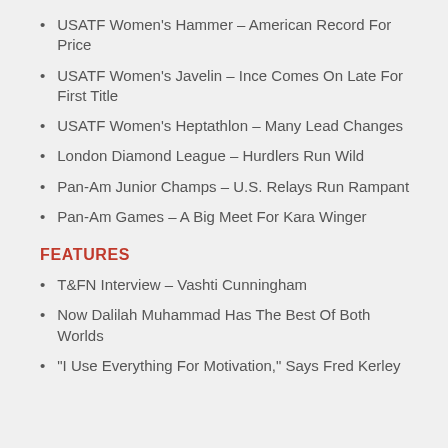USATF Women's Hammer – American Record For Price
USATF Women's Javelin – Ince Comes On Late For First Title
USATF Women's Heptathlon – Many Lead Changes
London Diamond League – Hurdlers Run Wild
Pan-Am Junior Champs – U.S. Relays Run Rampant
Pan-Am Games – A Big Meet For Kara Winger
FEATURES
T&FN Interview – Vashti Cunningham
Now Dalilah Muhammad Has The Best Of Both Worlds
"I Use Everything For Motivation," Says Fred Kerley